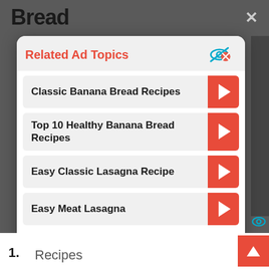Bread
Related Ad Topics
Classic Banana Bread Recipes
Top 10 Healthy Banana Bread Recipes
Easy Classic Lasagna Recipe
Easy Meat Lasagna
Continue to Site >>
1.
Recipes